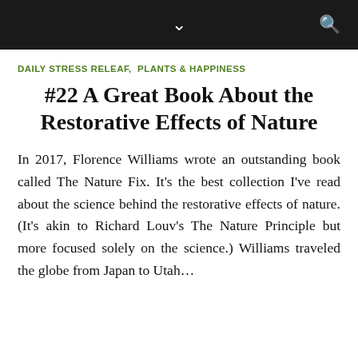navigation bar with chevron and search icon
DAILY STRESS RELEAF,  PLANTS & HAPPINESS
#22 A Great Book About the Restorative Effects of Nature
In 2017, Florence Williams wrote an outstanding book called The Nature Fix. It's the best collection I've read about the science behind the restorative effects of nature. (It's akin to Richard Louv's The Nature Principle but more focused solely on the science.) Williams traveled the globe from Japan to Utah…